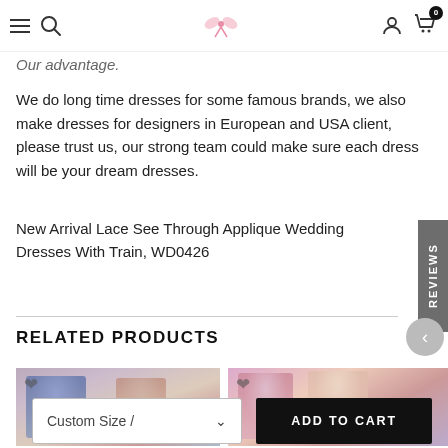Navigation bar with hamburger menu, search, logo, user icon, cart (0)
Our advantage.
We do long time dresses for some famous brands, we also make dresses for designers in European and USA client, please trust us, our strong team could make sure each dress will be your dream dresses.
New Arrival Lace See Through Applique Wedding Dresses With Train, WD0426
RELATED PRODUCTS
[Figure (photo): Product photo of a dress on a model outdoors with autumn trees]
[Figure (photo): Product photo of a model in a pink/mauve dress in a store setting]